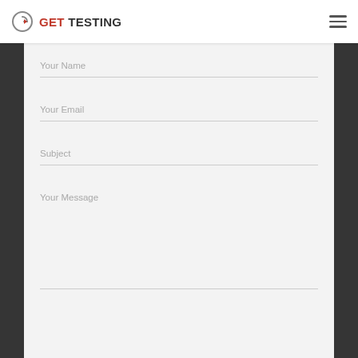[Figure (logo): GET TESTING logo with circular G icon in grey, text GET in red and TESTING in dark grey]
Your Name
Your Email
Subject
Your Message